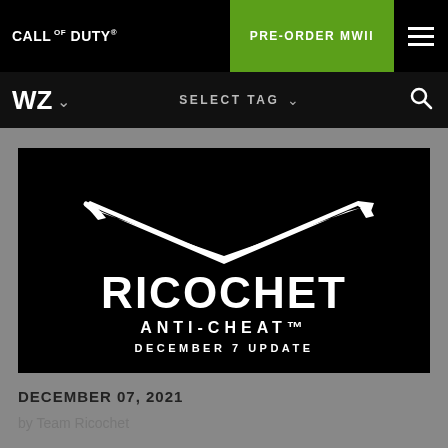CALL OF DUTY®   PRE-ORDER MWII   ☰
WZ ∨   SELECT TAG ∨   🔍
[Figure (logo): RICOCHET ANTI-CHEAT DECEMBER 7 UPDATE promotional image on black background with stylized wing/chevron logo mark above the RICOCHET text]
DECEMBER 07, 2021
by Team Ricochet